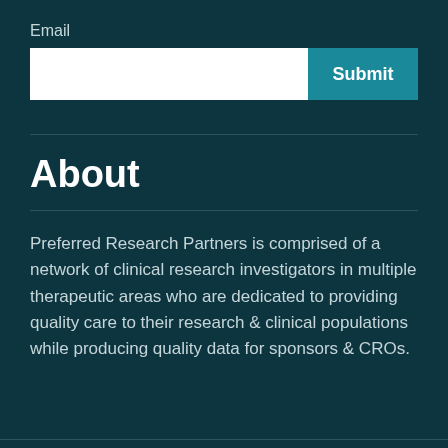Email
[Figure (screenshot): Email input field (white rectangle) and a teal Submit button]
About
Preferred Research Partners is comprised of a network of clinical research investigators in multiple therapeutic areas who are dedicated to providing quality care to their research & clinical populations while producing quality data for sponsors & CROs.